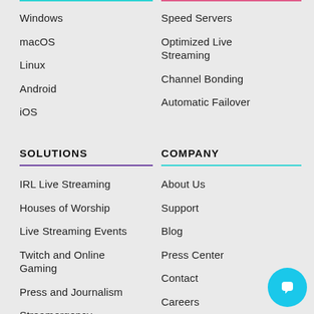Windows
macOS
Linux
Android
iOS
Speed Servers
Optimized Live Streaming
Channel Bonding
Automatic Failover
SOLUTIONS
IRL Live Streaming
Houses of Worship
Live Streaming Events
Twitch and Online Gaming
Press and Journalism
Streamergency
COMPANY
About Us
Support
Blog
Press Center
Contact
Careers